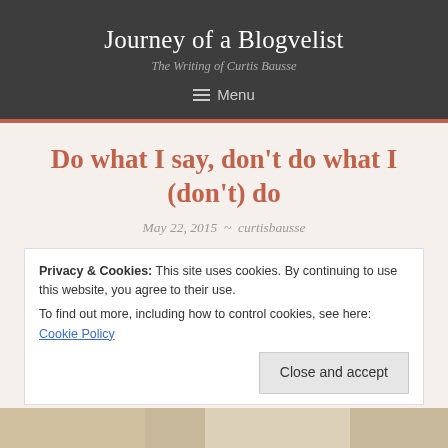Journey of a Blogvelist
The Writing of Curtis Bausse
Menu
Do what I say, don't do what I (don't) do
May 22, 2015  ~  curtisbausse
Privacy & Cookies: This site uses cookies. By continuing to use this website, you agree to their use.
To find out more, including how to control cookies, see here: Cookie Policy
Close and accept
[Figure (photo): Bottom strip showing partial images at the bottom of the page]